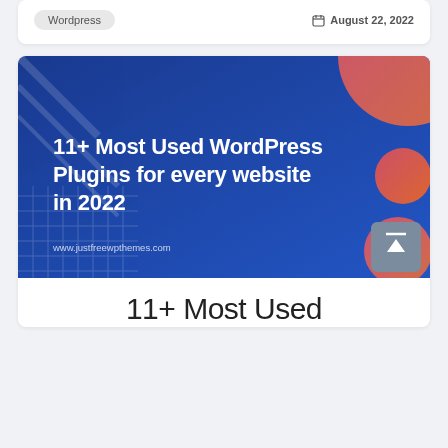Wordpress
August 22, 2022
[Figure (illustration): Blue gradient banner image with title '11+ Most Used WordPress Plugins for every website in 2022' and URL www.justfreewpthemes.com, with decorative pink/orange circles]
11+ Most Used